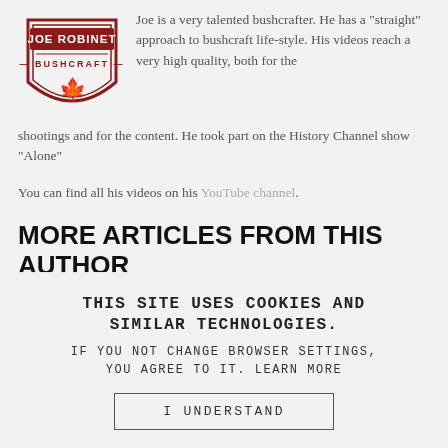[Figure (logo): Joe Robinet Bushcraft logo — shield shape with text JOE ROBINET and BUSHCRAFT, with a maple leaf icon, in dark red/maroon]
Joe is a very talented bushcrafter. He has a "straight" approach to bushcraft life-style. His videos reach a very high quality, both for the shootings and for the content. He took part on the History Channel show "Alone"
You can find all his videos on his YouTube channel.
MORE ARTICLES FROM THIS AUTHOR
Hrdwdsmn Skills:Shavings/Knee High Flames
The Micro...king a Flat Bot...d for...
THIS SITE USES COOKIES AND SIMILAR TECHNOLOGIES. IF YOU NOT CHANGE BROWSER SETTINGS, YOU AGREE TO IT. LEARN MORE
I UNDERSTAND